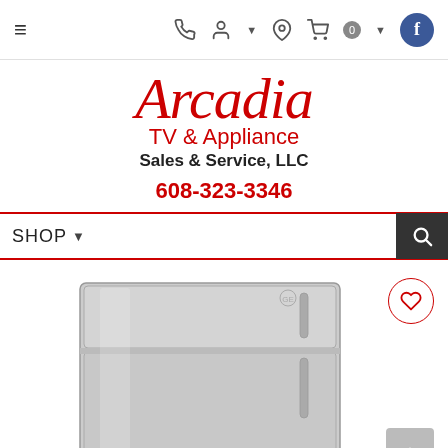≡  📞  👤▾  📍  🛒 0 ▾  f
[Figure (logo): Arcadia TV & Appliance Sales & Service, LLC logo in red script with phone number 608-323-3346]
608-323-3346
SHOP ▾
[Figure (photo): Stainless steel top-freezer refrigerator product photo]